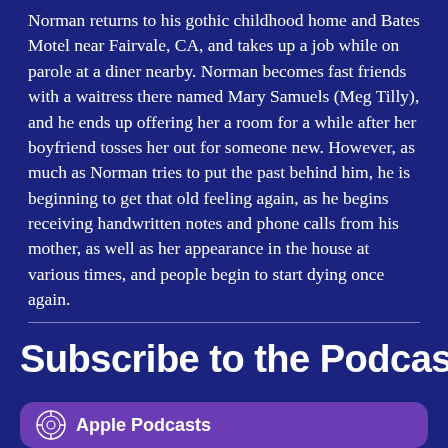Norman returns to his gothic childhood home and Bates Motel near Fairvale, CA, and takes up a job while on parole at a diner nearby. Norman becomes fast friends with a waitress there named Mary Samuels (Meg Tilly), and he ends up offering her a room for a while after her boyfriend tosses her out for someone new. However, as much as Norman tries to put the past behind him, he is beginning to get that old feeling again, as he begins receiving handwritten notes and phone calls from his mother, as well as her appearance in the house at various times, and people begin to start dying once again.
Subscribe to the Podcast
[Figure (logo): Apple Podcasts button with purple rounded rectangle background and Apple Podcasts logo icon]